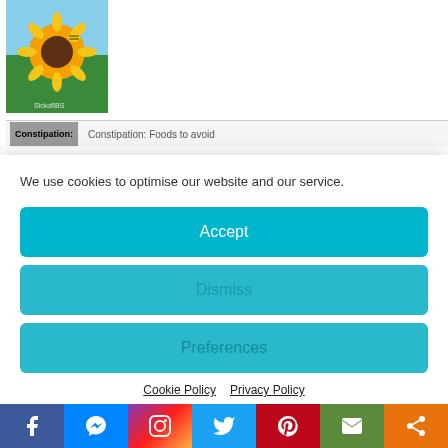[Figure (photo): Sunflower photo with 'SickofIBS' watermark text, blue sky background]
[Figure (screenshot): Constipation article thumbnail with label 'Constipation:' and title 'Constipation: Foods to avoid']
We use cookies to optimise our website and our service.
Accept
Dismiss
Preferences
Cookie Policy
Privacy Policy
[Figure (photo): Person wearing floral top, partial view]
[Figure (infographic): Social media share bar with Facebook, Messenger, Instagram, Twitter, Pinterest, Email, Share buttons]